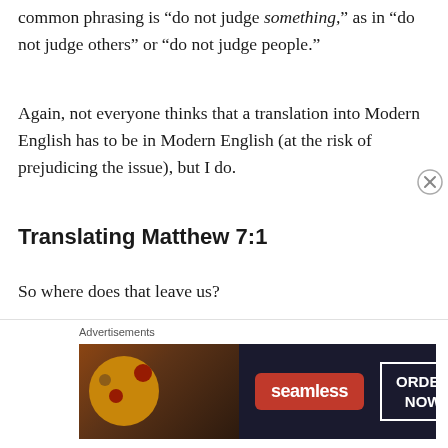common phrasing is “do not judge something,” as in “do not judge others” or “do not judge people.”
Again, not everyone thinks that a translation into Modern English has to be in Modern English (at the risk of prejudicing the issue), but I do.
Translating Matthew 7:1
So where does that leave us?
We need a translation that means “do not judge (other) people, so that you will not be judged.” It should be symmetrical, with the first and second parts sounding
[Figure (other): Seamless food delivery advertisement showing pizza image on dark background with red Seamless logo and ORDER NOW button]